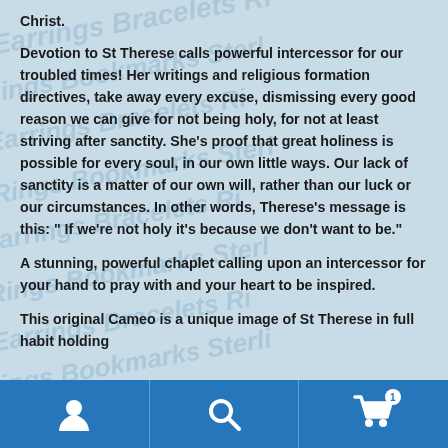Christ.
Devotion to St Therese calls powerful intercessor for our troubled times! Her writings and religious formation directives, take away every excuse, dismissing every good reason we can give for not being holy, for not at least striving after sanctity. She’s proof that great holiness is possible for every soul, in our own little ways. Our lack of sanctity is a matter of our own will, rather than our luck or our circumstances. In other words, Therese’s message is this: “ If we’re not holy it’s because we don’t want to be.”
A stunning, powerful chaplet calling upon an intercessor for your hand to pray with and your heart to be inspired.
This original Cameo is a unique image of St Therese in full habit holding
[Figure (screenshot): Mobile app bottom navigation bar with blue background showing three icons: person/account icon on left, search magnifying glass icon in center, and shopping cart icon with badge showing '1' on right]